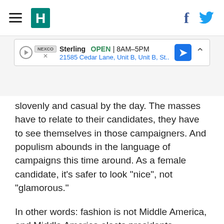HuffPost navigation with hamburger menu, logo, Facebook and Twitter icons
[Figure (other): Google Maps ad banner for Sterling, OPEN 8AM-5PM, 21585 Cedar Lane, Unit B, Unit B, St., with navigation arrow icon and chevron]
slovenly and casual by the day. The masses have to relate to their candidates, they have to see themselves in those campaigners. And populism abounds in the language of campaigns this time around. As a female candidate, it's safer to look "nice", not "glamorous."
In other words: fashion is not Middle America, and Middle America elects presidents.
The only time that modern America has truly tolerated - worshipped, in fact - fashion in the White House was during the reign of Jacqueline Kennedy. And I'm willing to bet that's because she was